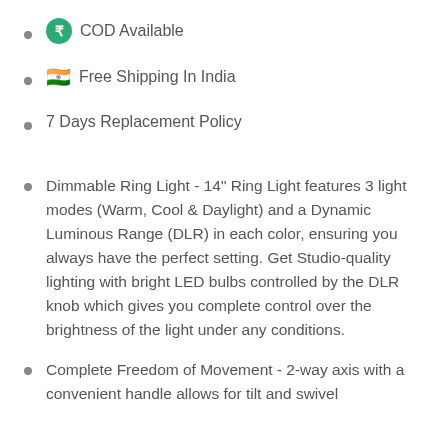COD Available
Free Shipping In India
7 Days Replacement Policy
Dimmable Ring Light - 14" Ring Light features 3 light modes (Warm, Cool & Daylight) and a Dynamic Luminous Range (DLR) in each color, ensuring you always have the perfect setting. Get Studio-quality lighting with bright LED bulbs controlled by the DLR knob which gives you complete control over the brightness of the light under any conditions.
Complete Freedom of Movement - 2-way axis with a convenient handle allows for tilt and swivel